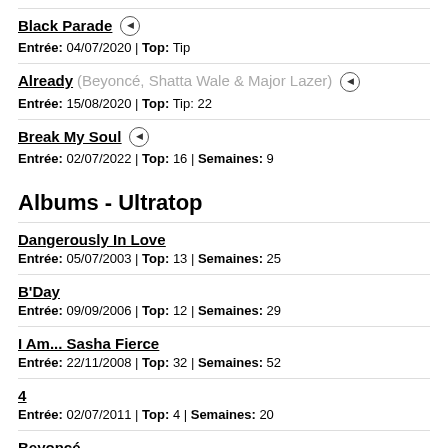Black Parade — Entrée: 04/07/2020 | Top: Tip
Already (Beyoncé, Shatta Wale & Major Lazer) — Entrée: 15/08/2020 | Top: Tip: 22
Break My Soul — Entrée: 02/07/2022 | Top: 16 | Semaines: 9
Albums - Ultratop
Dangerously In Love — Entrée: 05/07/2003 | Top: 13 | Semaines: 25
B'Day — Entrée: 09/09/2006 | Top: 12 | Semaines: 29
I Am... Sasha Fierce — Entrée: 22/11/2008 | Top: 32 | Semaines: 52
4 — Entrée: 02/07/2011 | Top: 4 | Semaines: 20
Beyoncé